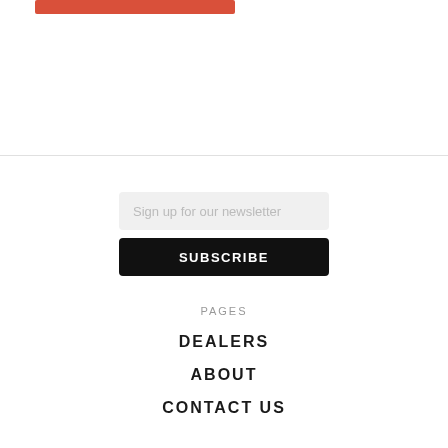[Figure (other): Red rectangular bar at top of page]
Sign up for our newsletter
SUBSCRIBE
PAGES
DEALERS
ABOUT
CONTACT US